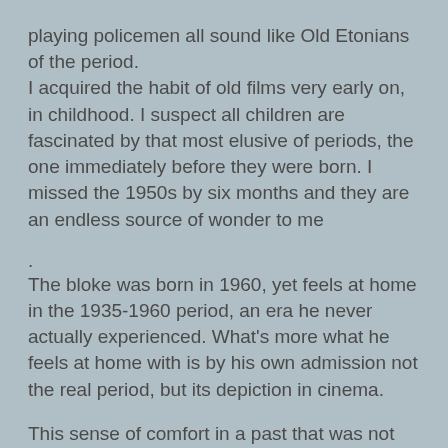playing policemen all sound like Old Etonians of the period.
I acquired the habit of old films very early on, in childhood. I suspect all children are fascinated by that most elusive of periods, the one immediately before they were born. I missed the 1950s by six months and they are an endless source of wonder to me
.
The bloke was born in 1960, yet feels at home in the 1935-1960 period, an era he never actually experienced. What's more what he feels at home with is by his own admission not the real period, but its depiction in cinema.
This sense of comfort in a past that was not directly experienced to me smacks of a need for things to be settled decisively one way or another. The great thing about the past is that we know how it turned out, we know who won or lost, and we can create pretty convincing reasons why they did so, even if we weren't there. In contrast the present seems totally in flux, and we can't nail down the direction of travel of